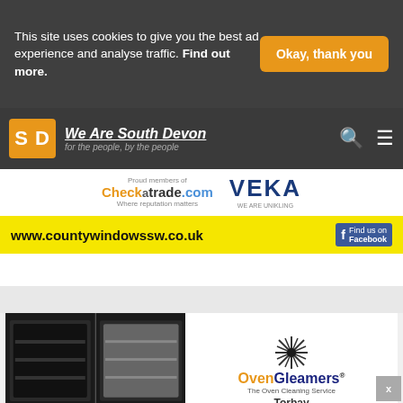This site uses cookies to give you the best ad experience and analyse traffic. Find out more.
Okay, thank you
[Figure (logo): We Are South Devon logo - SD orange square with site name and tagline 'for the people, by the people']
[Figure (photo): County Windows advertisement showing Checkatrade.com and VEKA logos with website www.countywindowssw.co.uk and Find us on Facebook]
[Figure (photo): OvenGleamers Torbay advertisement showing before and after oven photos with text 'We don't just clean ovens.. we GLEAM them' and call to action 'Call and book today on 01803 714998']